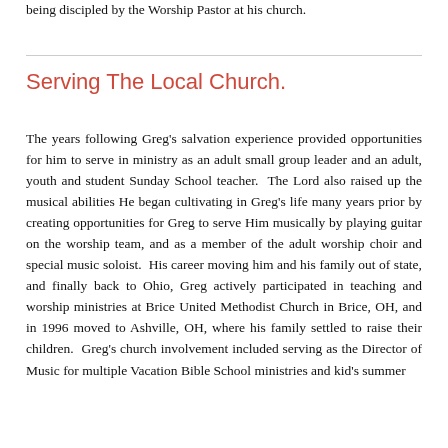being discipled by the Worship Pastor at his church.
Serving The Local Church.
The years following Greg's salvation experience provided opportunities for him to serve in ministry as an adult small group leader and an adult, youth and student Sunday School teacher.  The Lord also raised up the musical abilities He began cultivating in Greg's life many years prior by creating opportunities for Greg to serve Him musically by playing guitar on the worship team, and as a member of the adult worship choir and special music soloist.  His career moving him and his family out of state, and finally back to Ohio, Greg actively participated in teaching and worship ministries at Brice United Methodist Church in Brice, OH, and in 1996 moved to Ashville, OH, where his family settled to raise their children.  Greg's church involvement included serving as the Director of Music for multiple Vacation Bible School ministries and kid's summer